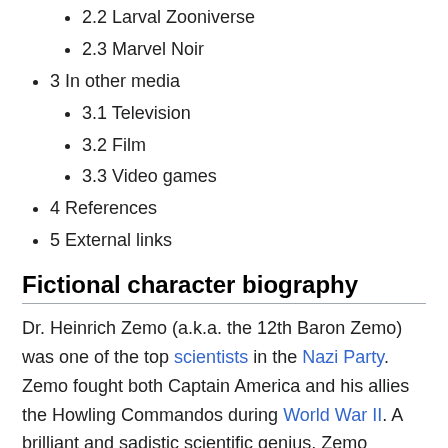2.2 Larval Zooniverse
2.3 Marvel Noir
3 In other media
3.1 Television
3.2 Film
3.3 Video games
4 References
5 External links
Fictional character biography
Dr. Heinrich Zemo (a.k.a. the 12th Baron Zemo) was one of the top scientists in the Nazi Party. Zemo fought both Captain America and his allies the Howling Commandos during World War II. A brilliant and sadistic scientific genius, Zemo created many weapons of mass destruction for Hitler's army, including a large-scale death ray cannon, a disintegration pistol that was a miniaturized version of his death ray, and primitive androids of considerable strength and durability. Heinrich's intelligence was only matched by his sadism, as he routinely tested his